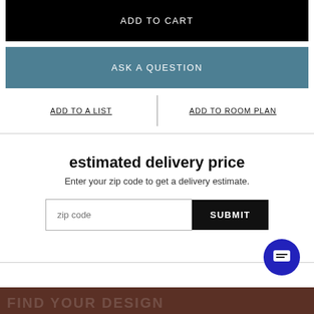ADD TO CART
ASK A QUESTION
ADD TO A LIST
ADD TO ROOM PLAN
estimated delivery price
Enter your zip code to get a delivery estimate.
zip code
SUBMIT